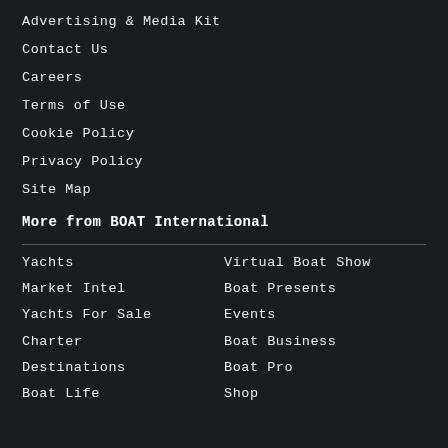Advertising & Media Kit
Contact Us
Careers
Terms of Use
Cookie Policy
Privacy Policy
Site Map
More from BOAT International
Yachts
Virtual Boat Show
Market Intel
Boat Presents
Yachts For Sale
Events
Charter
Boat Business
Destinations
Boat Pro
Boat Life
Shop